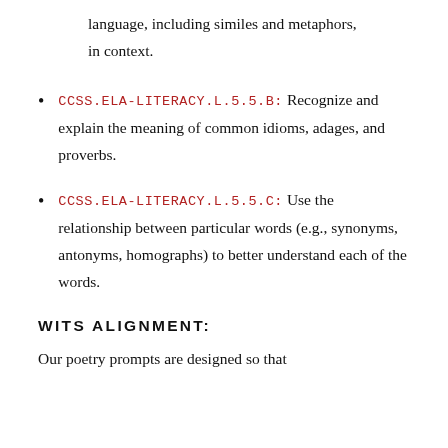language, including similes and metaphors, in context.
CCSS.ELA-LITERACY.L.5.5.B: Recognize and explain the meaning of common idioms, adages, and proverbs.
CCSS.ELA-LITERACY.L.5.5.C: Use the relationship between particular words (e.g., synonyms, antonyms, homographs) to better understand each of the words.
WITS ALIGNMENT:
Our poetry prompts are designed so that